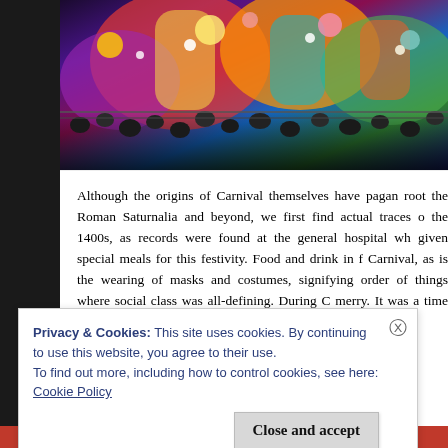[Figure (photo): Colorful carnival scene with large decorative floats, costumes in bright colors, and a crowd of people in the background at night.]
Although the origins of Carnival themselves have pagan roots, the Roman Saturnalia and beyond, we first find actual traces of the 1400s, as records were found at the general hospital where given special meals for this festivity. Food and drink in fa Carnival, as is the wearing of masks and costumes, signifying order of things where social class was all-defining. During C merry. It was a time for jokes, laughter and pranks.
Privacy & Cookies: This site uses cookies. By continuing to use this website, you agree to their use.
To find out more, including how to control cookies, see here:
Cookie Policy
Close and accept